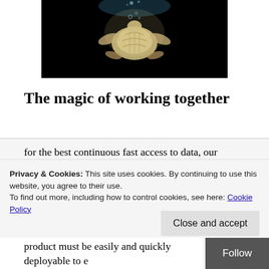[Figure (photo): A sea turtle swimming underwater against a black background, photographed from below/side angle with light creating a glowing effect.]
The magic of working together
There is a lot of misunderstanding between DBA's and Developers. I have been in both roles at some point and I have seen this happen first hand. One of the things, though, in that force field, I have learned, is the power, the joy and, through this, the magic of working together. In the end, we all have the same goal, which is furthering our business by being the best at what we do. This means, [cut off]
Privacy & Cookies: This site uses cookies. By continuing to use this website, you agree to their use.
To find out more, including how to control cookies, see here: Cookie Policy
product must be easily and quickly deployable to e[cut off]